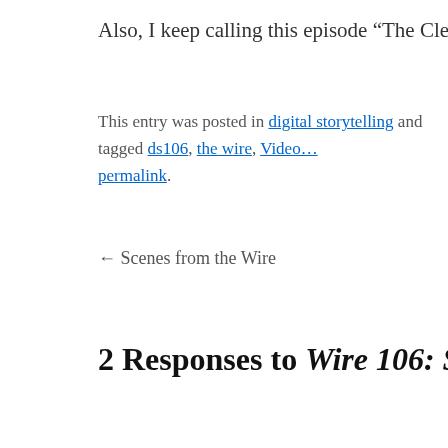Also, I keep calling this episode “The Clean-Up,” but it’s Clean…
This entry was posted in digital storytelling and tagged ds106, the wire, Video… permalink.
← Scenes from the Wire
2 Responses to Wire 106: S01E12 “Cleaning…
Green Canoe says:
September 7, 2014 at 7:57 am
I had assumed the drug dealers on the corners and in th… distinctive colors to help us track the characters in the c… around. I remember this helping me follow the hand-to… when a runner was wearing a khaki jacket with a brigh… open and become visible as he ran around.

You’d think they would wear the most non-distinctive c… capture if being pursued by the POlice. In fact, I forge…